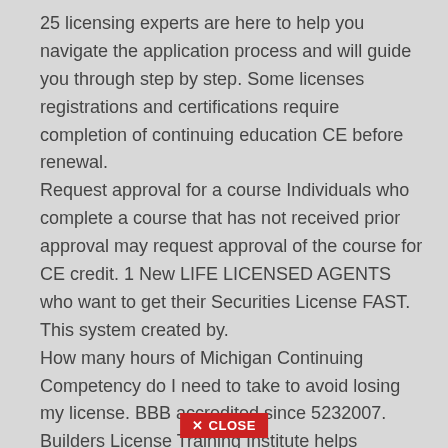25 licensing experts are here to help you navigate the application process and will guide you through step by step. Some licenses registrations and certifications require completion of continuing education CE before renewal.
Request approval for a course Individuals who complete a course that has not received prior approval may request approval of the course for CE credit. 1 New LIFE LICENSED AGENTS who want to get their Securities License FAST. This system created by.
How many hours of Michigan Continuing Competency do I need to take to avoid losing my license. BBB accredited since 5232007. Builders License Training Institute helps professionals and organizations fulfill continuing education.
✕ CLOSE